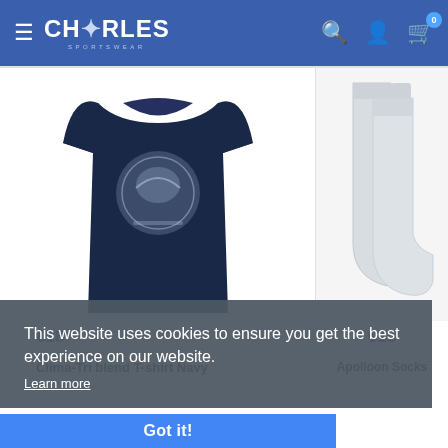Charles Sportswear — navigation header
[Figure (photo): Navy blue t-shirt with circular graphic print on chest, displayed on white background]
[Figure (photo): White socks displayed on white background]
€18
€15
Clima-Tri blend T-shirt Navy
Apolloon Socks
This website uses cookies to ensure you get the best experience on our website.
Learn more
Got it!